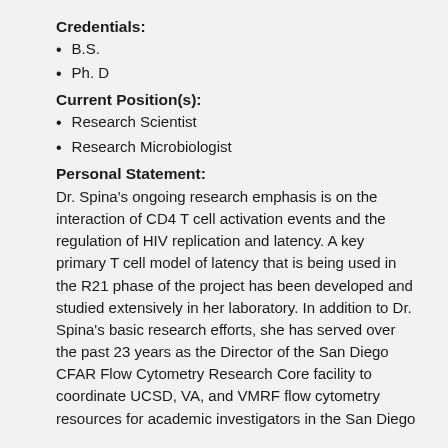Credentials:
B.S.
Ph. D
Current Position(s):
Research Scientist
Research Microbiologist
Personal Statement:
Dr. Spina's ongoing research emphasis is on the interaction of CD4 T cell activation events and the regulation of HIV replication and latency. A key primary T cell model of latency that is being used in the R21 phase of the project has been developed and studied extensively in her laboratory. In addition to Dr. Spina's basic research efforts, she has served over the past 23 years as the Director of the San Diego CFAR Flow Cytometry Research Core facility to coordinate UCSD, VA, and VMRF flow cytometry resources for academic investigators in the San Diego...